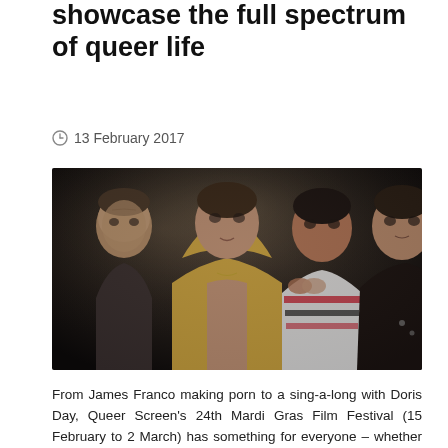showcase the full spectrum of queer life
13 February 2017
[Figure (photo): Promotional photo of four men posed dramatically against a dark background. From left: an older man in a suit, a young man in an open yellow hoodie, a young man in a striped top, and a man in a leather jacket.]
From James Franco making porn to a sing-a-long with Doris Day, Queer Screen's 24th Mardi Gras Film Festival (15 February to 2 March) has something for everyone – whether it's an inspiring political documentary, a tear-jerking drama or a sexy romp!